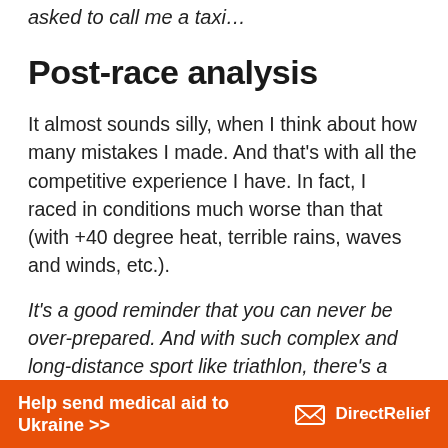asked to call me a taxi…
Post-race analysis
It almost sounds silly, when I think about how many mistakes I made. And that's with all the competitive experience I have. In fact, I raced in conditions much worse than that (with +40 degree heat, terrible rains, waves and winds, etc.).
It's a good reminder that you can never be over-prepared. And with such complex and long-distance sport like triathlon, there's a high chance of something going wrong on race day
[Figure (infographic): Orange advertisement banner: 'Help send medical aid to Ukraine >>' with Direct Relief logo on the right]